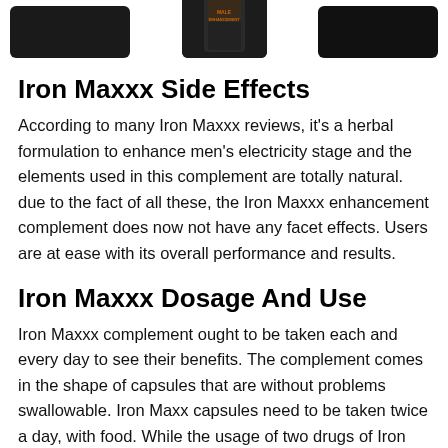[Figure (photo): Three product images at the top: left shows a dark supplement product, center shows a Male Enhancement supplement bottle in black container, right shows another dark supplement product image.]
Iron Maxxx Side Effects
According to many Iron Maxxx reviews, it's a herbal formulation to enhance men's electricity stage and the elements used in this complement are totally natural. due to the fact of all these, the Iron Maxxx enhancement complement does now not have any facet effects. Users are at ease with its overall performance and results.
Iron Maxxx Dosage And Use
Iron Maxxx complement ought to be taken each and every day to see their benefits. The complement comes in the shape of capsules that are without problems swallowable. Iron Maxx capsules need to be taken twice a day, with food. While the usage of two drugs of Iron Maxxx, you have to additionally have an energetic life-style and keep a balanced